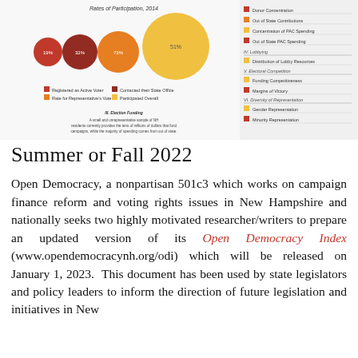[Figure (infographic): Open Democracy Index infographic showing rates of participation 2014 with bubble charts and categories including Donor Concentration, Out of State Contributions, Concentration of PAC Spending, Out of State PAC Spending, Lobbying, Distribution of Lobby Resources, Electoral Competition, Funding Competitiveness, Margin of Victory, Diversity of Representation, Gender Representation, Minority Representation]
Summer or Fall 2022
Open Democracy, a nonpartisan 501c3 which works on campaign finance reform and voting rights issues in New Hampshire and nationally seeks two highly motivated researcher/writers to prepare an updated version of its Open Democracy Index (www.opendemocracynh.org/odi) which will be released on January 1, 2023.  This document has been used by state legislators and policy leaders to inform the direction of future legislation and initiatives in New